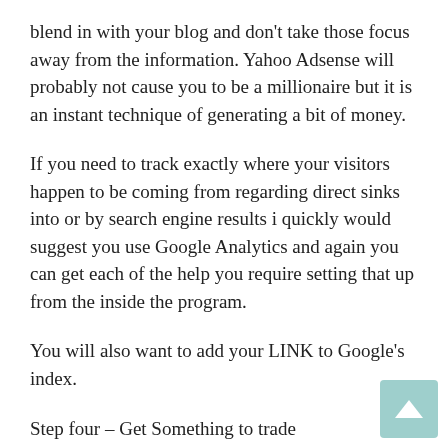blend in with your blog and don't take those focus away from the information. Yahoo Adsense will probably not cause you to be a millionaire but it is an instant technique of generating a bit of money.
If you need to track exactly where your visitors happen to be coming from regarding direct sinks into or by search engine results i quickly would suggest you use Google Analytics and again you can get each of the help you require setting that up from the inside the program.
You will also want to add your LINK to Google's index.
Step four – Get Something to trade
If you don't want to sell anything and are pleased with the profit Google Adsense is bringing in then you can neglect this step. If you would like to maximize your earnings and genuinely learn How to Make Money with Blogs you will want to find an affiliates program to join. A number of affiliate